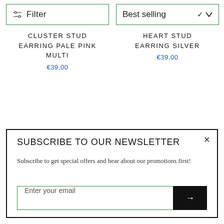Filter
Best selling
CLUSTER STUD EARRING PALE PINK MULTI
€39,00
HEART STUD EARRING SILVER
€39,00
SUBSCRIBE TO OUR NEWSLETTER
Subscribe to get special offers and hear about our promotions first!
Enter your email